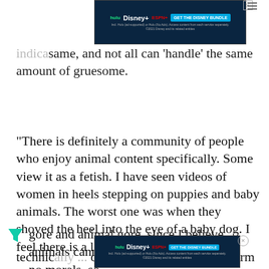[Figure (other): Disney Bundle advertisement banner at top of page with Hulu, Disney+, ESPN+ logos and 'GET THE DISNEY BUNDLE' button on dark blue background]
indica[tion] ...same, and not all can ‘handle’ the same amount of gruesome.
“There is definitely a community of people who enjoy animal content specifically. Some view it as a fetish. I have seen videos of women in heels stepping on puppies and baby animals. The worst one was when they shoved the heel into the eye of a baby dog. I feel there is a line between human gore and animal gore, since I believe animals cannot do wrong. They have no morals, so technically [animals] are neither good nor bad. Bu[t personally I do not] view any harm to animals. I am a massive animal lover
[Figure (other): Disney Bundle advertisement banner in middle of page with Hulu, Disney+, ESPN+ logos and 'GET THE DISNEY BUNDLE' button on dark blue background]